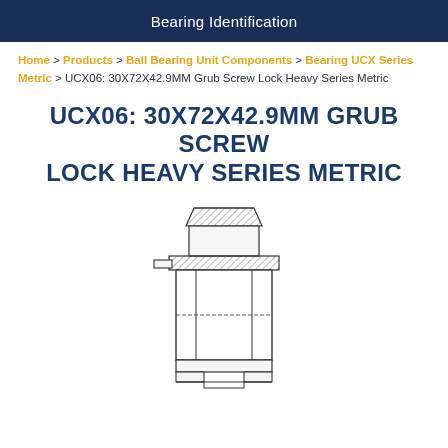Bearing Identification
Home > Products > Ball Bearing Unit Components > Bearing UCX Series Metric > UCX06: 30X72X42.9MM Grub Screw Lock Heavy Series Metric
UCX06: 30X72X42.9MM GRUB SCREW LOCK HEAVY SERIES METRIC
[Figure (engineering-diagram): Technical line drawing of a UCX06 bearing unit showing front view with grub screw lock mechanism, inner ring, outer housing with mounting feet, and seals. Hatching indicates cross-sectional areas.]